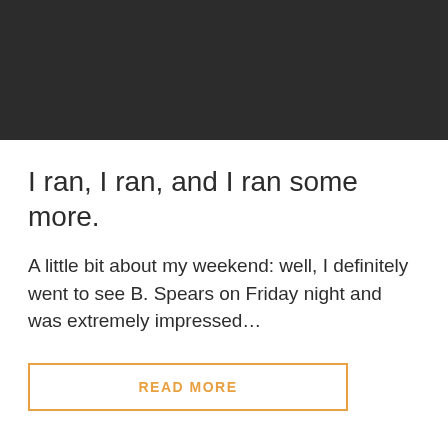[Figure (other): Dark/black header banner area at top of page]
I ran, I ran, and I ran some more.
A little bit about my weekend: well, I definitely went to see B. Spears on Friday night and was extremely impressed…
READ MORE